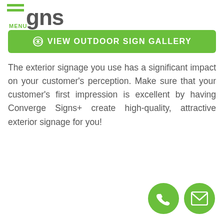gns MENU
VIEW OUTDOOR SIGN GALLERY
The exterior signage you use has a significant impact on your customer's perception. Make sure that your customer's first impression is excellent by having Converge Signs+ create high-quality, attractive exterior signage for you!